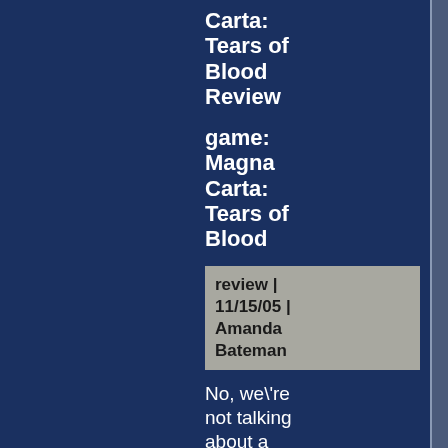Carta: Tears of Blood Review
game: Magna Carta: Tears of Blood
review | 11/15/05 | Amanda Bateman
No, we\'re not talking about a legal document limiting the power of English monarchs in the year of 1215 (But, if